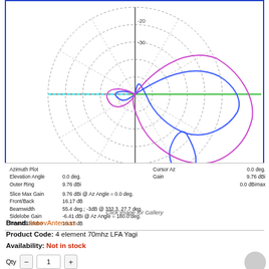[Figure (engineering-diagram): Polar azimuth radiation pattern plot for a 4-element 70MHz LFA Yagi antenna at 70.2 MHz, showing multiple overlapping antenna pattern curves (blue, magenta, cyan/green) on a dBi polar grid with concentric dashed rings labeled -20 and -30 dB.]
| Azimuth Plot |  | Cursor Az | 0.0 deg. |
| Elevation Angle | 0.0 deg. | Gain | 9.76 dBi |
| Outer Ring | 9.76 dBi |  | 0.0 dBimax |
| Slice Max Gain | 9.76 dBi @ Az Angle = 0.0 deg. |  |  |
| Front/Back | 16.17 dB |  |  |
| Beamwidth | 55.4 deg.; -3dB @ 332.3, 27.7 deg. |  |  |
| Sidelobe Gain | -6.41 dBi @ Az Angle = 180.0 deg. |  |  |
| Front/Sidelobe | 16.17 dB |  |  |
Click image for Gallery
Brand: InnovAntennas
Product Code: 4 element 70mhz LFA Yagi
Availability: Not in stock